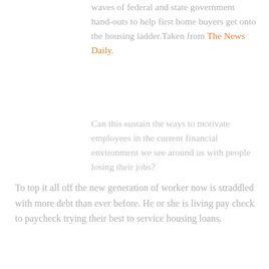waves of federal and state government hand-outs to help first home buyers get onto the housing ladder.Taken from The News Daily.
Can this sustain the ways to motivate employees in the current financial environment we see around us with people losing their jobs?
To top it all off the new generation of worker now is straddled with more debt than ever before. He or she is living pay check to paycheck trying their best to service housing loans.